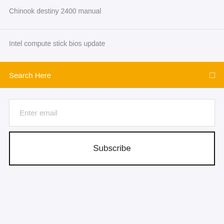Chinook destiny 2400 manual
Intel compute stick bios update
Search Here
Enter email
Subscribe